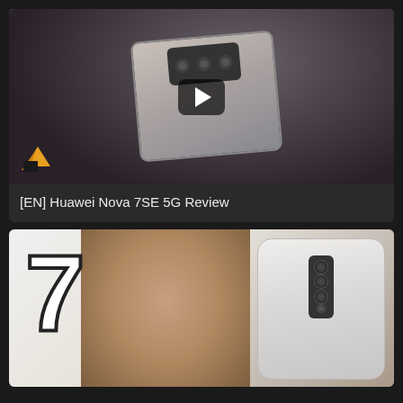[Figure (screenshot): Video thumbnail showing a person holding a Huawei Nova 7SE 5G smartphone with triple cameras visible, with a YouTube-style play button overlay and a channel logo in the bottom left]
[EN] Huawei Nova 7SE 5G Review
[Figure (screenshot): Video thumbnail showing a large white outlined '7' on the left, a smiling woman in the center, and a silver Huawei Nova 7 smartphone on the right with a play button overlay]